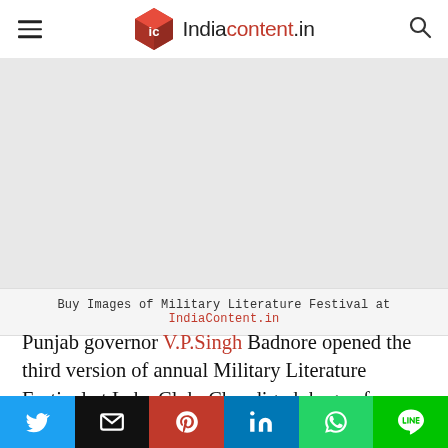Indiacontent.in
[Figure (other): Advertisement placeholder image area (gray rectangle)]
Buy Images of Military Literature Festival at IndiaContent.in
Punjab governor V.P.Singh Badnore opened the third version of annual Military Literature Festival at Lake Club, Chandigarh began from December 13-15. The literature festival welcomed many aristocratic from the combat zone and scholarly areas like serving and retired
[Figure (infographic): Social sharing bar with Twitter, Email, Pinterest, LinkedIn, WhatsApp, and LINE buttons]